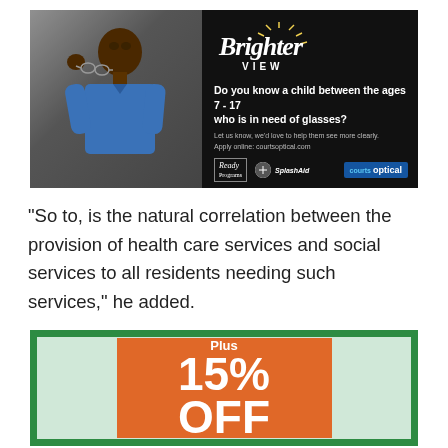[Figure (photo): Advertisement for Brighter View program by Courts Optical. Left side shows a young boy in a blue shirt holding glasses. Right side on black background has 'Brighter View' script logo with sun rays, text reading 'Do you know a child between the ages 7 - 17 who is in need of glasses? Let us know, we'd love to help them see more clearly. Apply online: courtsoptical.com' with sponsor logos including Courts Optical.]
“So to, is the natural correlation between the provision of health care services and social services to all residents needing such services,” he added.
[Figure (infographic): Advertisement with green border and light green background containing an orange rectangle with white bold text reading 'Plus 15% OFF']